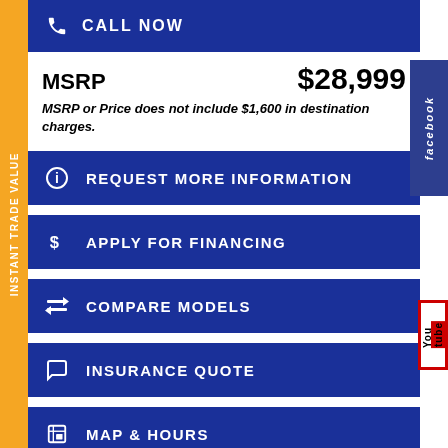INSTANT TRADE VALUE
CALL NOW
MSRP    $28,999
MSRP or Price does not include $1,600 in destination charges.
REQUEST MORE INFORMATION
APPLY FOR FINANCING
COMPARE MODELS
INSURANCE QUOTE
MAP & HOURS
FINANCIAMIENTO SEGURO
facebook
YouTube